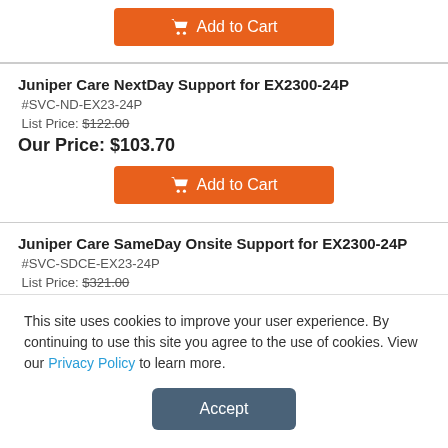Add to Cart (button - partial top)
Juniper Care NextDay Support for EX2300-24P
#SVC-ND-EX23-24P
List Price: $122.00
Our Price: $103.70
Add to Cart (button)
Juniper Care SameDay Onsite Support for EX2300-24P
#SVC-SDCE-EX23-24P
List Price: $321.00
Our Price: $272.85
Add to Cart (button - partial bottom)
This site uses cookies to improve your user experience. By continuing to use this site you agree to the use of cookies. View our Privacy Policy to learn more.
Accept